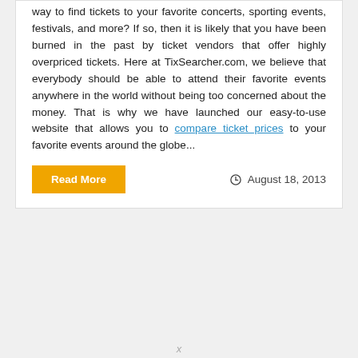way to find tickets to your favorite concerts, sporting events, festivals, and more? If so, then it is likely that you have been burned in the past by ticket vendors that offer highly overpriced tickets. Here at TixSearcher.com, we believe that everybody should be able to attend their favorite events anywhere in the world without being too concerned about the money. That is why we have launched our easy-to-use website that allows you to compare ticket prices to your favorite events around the globe...
Read More
August 18, 2013